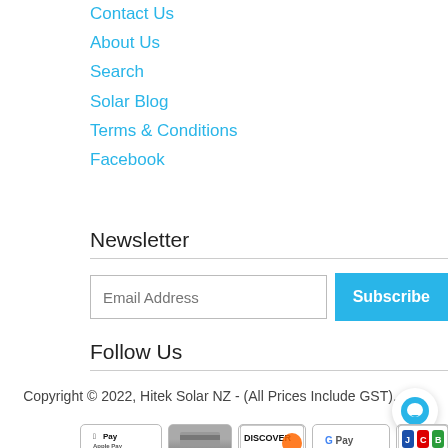Contact Us
About Us
Search
Solar Blog
Terms & Conditions
Facebook
Newsletter
Follow Us
Copyright © 2022, Hitek Solar NZ - (All Prices Include GST).
[Figure (other): Payment method icons: Apple Pay, generic card, Discover, Google Pay, JCB]